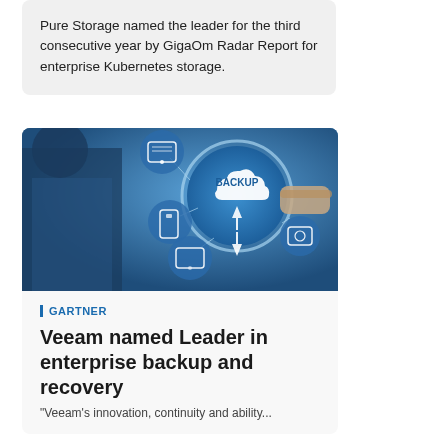Pure Storage named the leader for the third consecutive year by GigaOm Radar Report for enterprise Kubernetes storage.
[Figure (photo): Person touching a digital backup network interface with cloud icon labeled BACKUP and connected device icons]
GARTNER
Veeam named Leader in enterprise backup and recovery
"Veeam's innovation, continuity and ability...